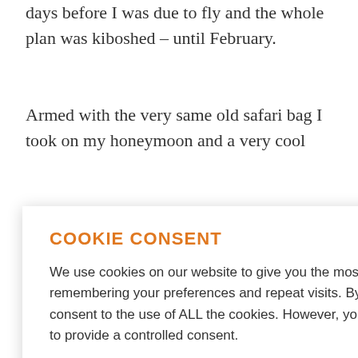days before I was due to fly and the whole plan was kiboshed – until February.
Armed with the very same old safari bag I took on my honeymoon and a very cool
COOKIE CONSENT
We use cookies on our website to give you the most relevant experience by remembering your preferences and repeat visits. By clicking "Accept All", you consent to the use of ALL the cookies. However, you may visit "Cookie Settings" to provide a controlled consent.
Cookie Settings  Accept All  Reject All
just tried to enjoy the fact that I wasn't